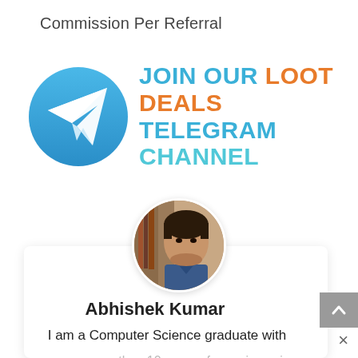Commission Per Referral
[Figure (logo): Telegram channel promotional banner with Telegram logo circle (paper plane icon) and text: JOIN OUR LOOT DEALS TELEGRAM CHANNEL]
[Figure (photo): Circular profile photo of Abhishek Kumar, a young man]
Abhishek Kumar
I am a Computer Science graduate with more than 10 years of experience in Blogging. I love to share my knowledge on desktop apps, finance, tips and tricks to save money online. You can find me on